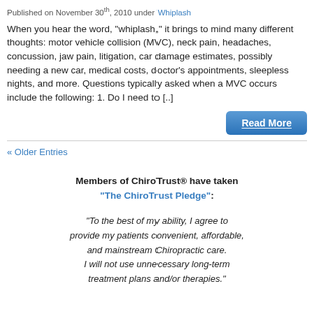Published on November 30th, 2010 under Whiplash
When you hear the word, "whiplash," it brings to mind many different thoughts: motor vehicle collision (MVC), neck pain, headaches, concussion, jaw pain, litigation, car damage estimates, possibly needing a new car, medical costs, doctor's appointments, sleepless nights, and more. Questions typically asked when a MVC occurs include the following: 1. Do I need to [..]
Read More
« Older Entries
Members of ChiroTrust® have taken "The ChiroTrust Pledge":
"To the best of my ability, I agree to provide my patients convenient, affordable, and mainstream Chiropractic care. I will not use unnecessary long-term treatment plans and/or therapies."